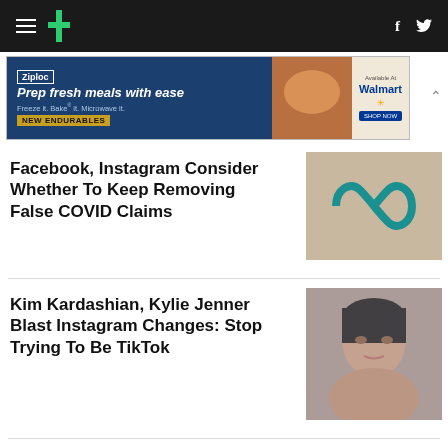HuffPost navigation bar with hamburger menu, logo, Facebook and Twitter icons
[Figure (illustration): Ziploc advertisement banner: Prep fresh meals with ease. Freeze it. Bake it. Microwave it. NEW ENDURABLES. Available At Walmart.]
Facebook, Instagram Consider Whether To Keep Removing False COVID Claims
[Figure (photo): Meta infinity loop logo on beige/tan background in teal color]
Kim Kardashian, Kylie Jenner Blast Instagram Changes: Stop Trying To Be TikTok
[Figure (photo): Close-up photo of a young woman, likely Kylie Jenner, with dark hair pulled back, against a grey background]